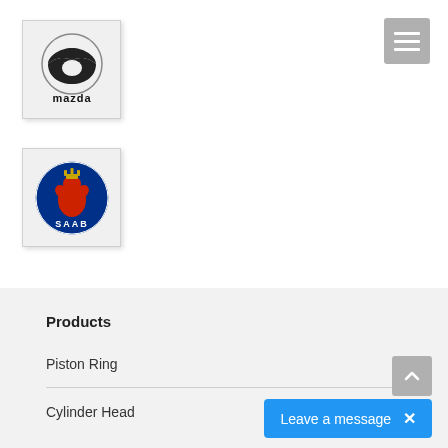[Figure (logo): Mazda logo in a light gray bordered box]
[Figure (logo): SAAB logo (griffin on blue circle) in a light gray bordered box]
Products
Piston Ring
Cylinder Head
Leave a message ×